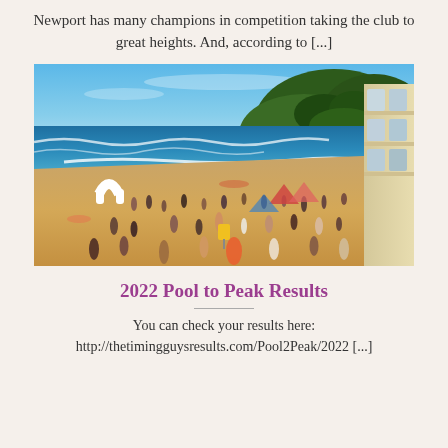Newport has many champions in competition taking the club to great heights. And, according to [...]
[Figure (photo): Aerial view of Newport beach with crowds of people on golden sand, blue ocean waves, a white inflatable arch, a green tree-covered headland in the background, and a building on the right side.]
2022 Pool to Peak Results
You can check your results here: http://thetimingguysresults.com/Pool2Peak/2022 [...]